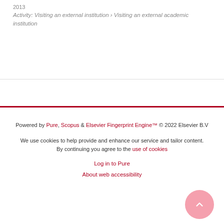2013
Activity: Visiting an external institution › Visiting an external academic institution
Powered by Pure, Scopus & Elsevier Fingerprint Engine™ © 2022 Elsevier B.V
We use cookies to help provide and enhance our service and tailor content. By continuing you agree to the use of cookies
Log in to Pure
About web accessibility